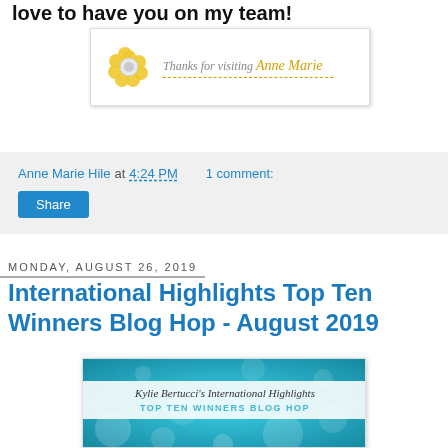love to have you on my team!
[Figure (illustration): Signature banner: decorative flower graphic on the left, script text reading 'Thanks for visiting Anne Marie' with a dashed gold line beneath the name.]
Anne Marie Hile at 4:24 PM   1 comment:
Share
Monday, August 26, 2019
International Highlights Top Ten Winners Blog Hop - August 2019
[Figure (illustration): Blog hop promotional banner image with teal/turquoise bokeh background and white banner reading 'Kylie Bertucci's International Highlights TOP TEN WINNERS BLOG HOP']